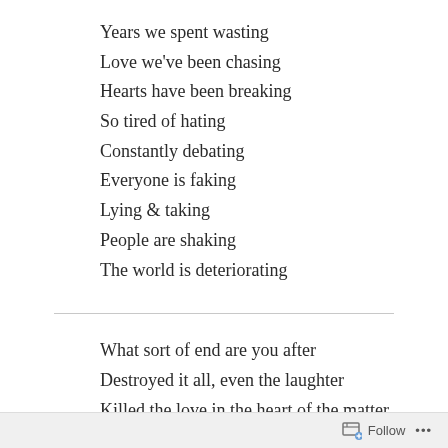Years we spent wasting
Love we've been chasing
Hearts have been breaking
So tired of hating
Constantly debating
Everyone is faking
Lying & taking
People are shaking
The world is deteriorating
What sort of end are you after
Destroyed it all, even the laughter
Killed the love in the heart of the matter
Follow  ...